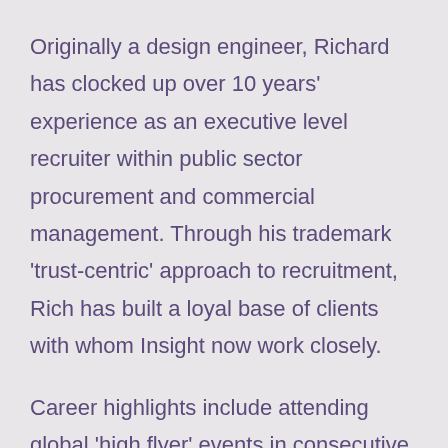Originally a design engineer, Richard has clocked up over 10 years' experience as an executive level recruiter within public sector procurement and commercial management. Through his trademark 'trust-centric' approach to recruitment, Rich has built a loyal base of clients with whom Insight now work closely.
Career highlights include attending global 'high flyer' events in consecutive years, and personally generating over